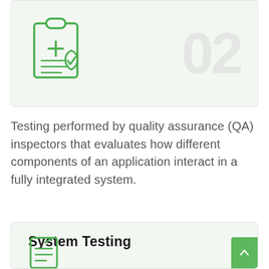[Figure (illustration): Green outline icon of a medical clipboard with a cross symbol and a shield/checkmark badge, on a light green card background with a large '02' watermark in grey]
Testing performed by quality assurance (QA) inspectors that evaluates how different components of an application interact in a fully integrated system.
System Testing
[Figure (illustration): Partially visible green outline icon of a document/page at bottom of card]